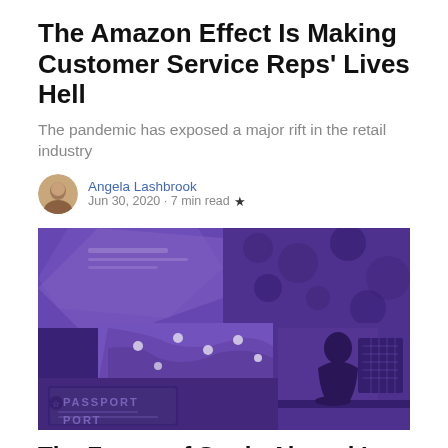The Amazon Effect Is Making Customer Service Reps' Lives Hell
The pandemic has exposed a major rift in the retail industry
Angela Lashbrook
Jun 30, 2020 · 7 min read ★
[Figure (photo): Purple-tinted collage image showing a passport, map with location pins, and a person sitting at a computer desk in silhouette]
The Future of Study Abroad Is Zoom Calls